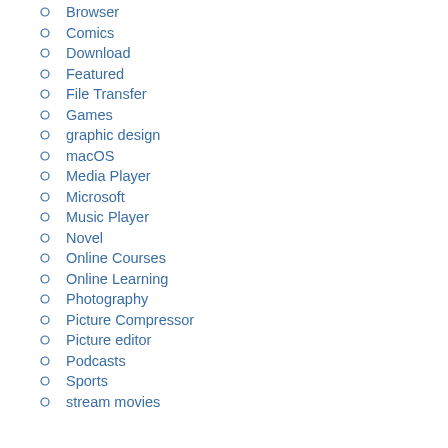Browser
Comics
Download
Featured
File Transfer
Games
graphic design
macOS
Media Player
Microsoft
Music Player
Novel
Online Courses
Online Learning
Photography
Picture Compressor
Picture editor
Podcasts
Sports
stream movies